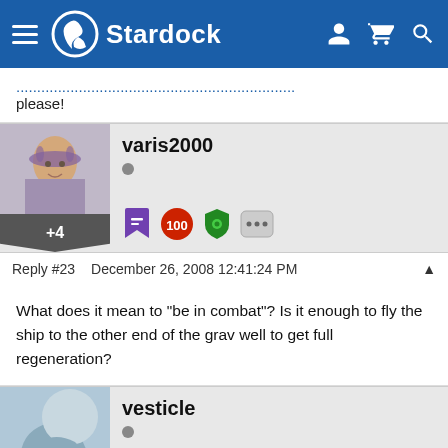Stardock
please!
varis2000
Reply #23  December 26, 2008 12:41:24 PM
+4
What does it mean to "be in combat"? Is it enough to fly the ship to the other end of the grav well to get full regeneration?
vesticle
0